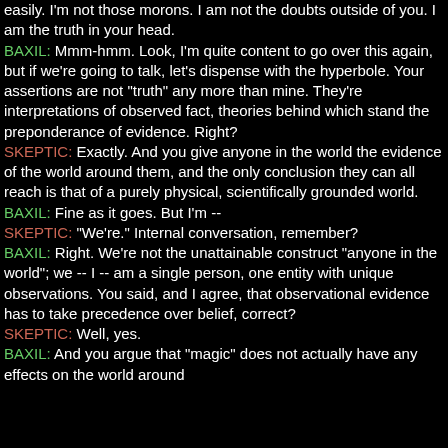easily. I'm not those morons. I am not the doubts outside of you. I am the truth in your head.
BAXIL: Mmm-hmm. Look, I'm quite content to go over this again, but if we're going to talk, let's dispense with the hyperbole. Your assertions are not "truth" any more than mine. They're interpretations of observed fact, theories behind which stand the preponderance of evidence. Right?
SKEPTIC: Exactly. And you give anyone in the world the evidence of the world around them, and the only conclusion they can all reach is that of a purely physical, scientifically grounded world.
BAXIL: Fine as it goes. But I'm --
SKEPTIC: "We're." Internal conversation, remember?
BAXIL: Right. We're not the unattainable construct "anyone in the world"; we -- I -- am a single person, one entity with unique observations. You said, and I agree, that observational evidence has to take precedence over belief, correct?
SKEPTIC: Well, yes.
BAXIL: And you argue that "magic" does not actually have any effects on the world around